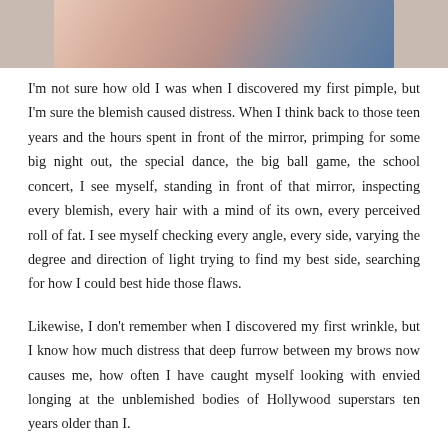[Figure (photo): Cropped photo of two people, partially visible at top of page, pink and blue tones]
I'm not sure how old I was when I discovered my first pimple, but I'm sure the blemish caused distress. When I think back to those teen years and the hours spent in front of the mirror, primping for some big night out, the special dance, the big ball game, the school concert, I see myself, standing in front of that mirror, inspecting every blemish, every hair with a mind of its own, every perceived roll of fat. I see myself checking every angle, every side, varying the degree and direction of light trying to find my best side, searching for how I could best hide those flaws.
Likewise, I don't remember when I discovered my first wrinkle, but I know how much distress that deep furrow between my brows now causes me, how often I have caught myself looking with envied longing at the unblemished bodies of Hollywood superstars ten years older than I.
During both my teen years and now, in my more mature